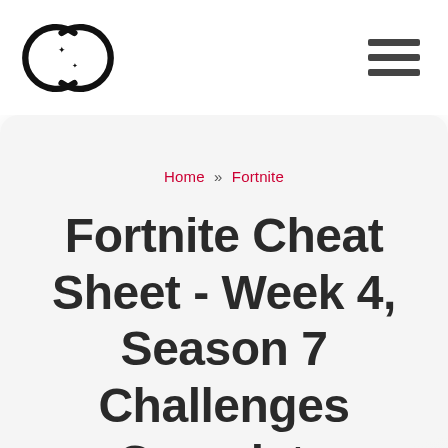[Logo] [Hamburger menu]
Home » Fortnite
Fortnite Cheat Sheet - Week 4, Season 7 Challenges Complete